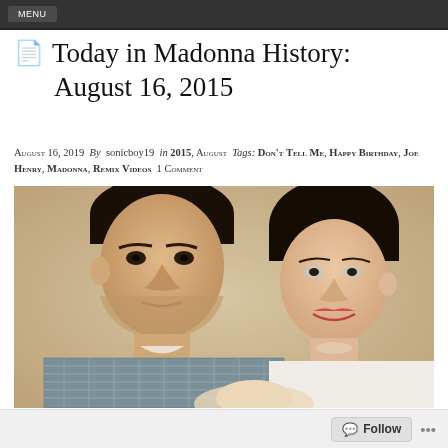MENU
Today in Madonna History: August 16, 2015
August 16, 2019  By  sonicboy19  in 2015, August  Tags: Don't Tell Me, Happy Birthday, Joe Henry, Madonna, Remix Videos  1 Comment
[Figure (photo): Vintage color photograph of a young man and woman looking down at a newborn baby. The man is on the left wearing a plaid shirt; the woman is on the right with short dark hair.]
Follow